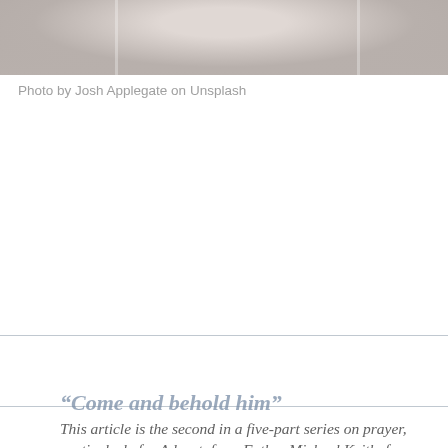[Figure (photo): Top portion of a photograph, appearing to show a light-colored subject against a muted background, cropped at the top of the page]
Photo by Josh Applegate on Unsplash
[Figure (other): Advent banner/label with stylized italic text reading 'ADVENT' in muted blue-gray tones, with a light blue-gray background box, bordered above and below by thin lines]
“Come and behold him”
This article is the second in a five-part series on prayer, particularly for Advent, from Father Michael Keith, f